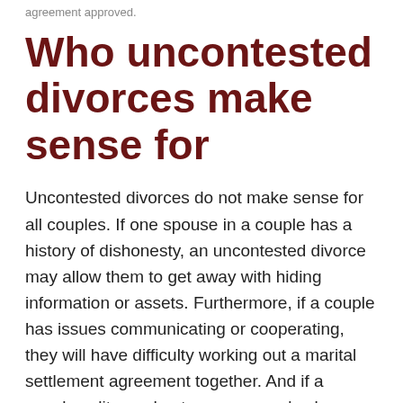agreement approved.
Who uncontested divorces make sense for
Uncontested divorces do not make sense for all couples. If one spouse in a couple has a history of dishonesty, an uncontested divorce may allow them to get away with hiding information or assets. Furthermore, if a couple has issues communicating or cooperating, they will have difficulty working out a marital settlement agreement together. And if a couple splits up due to one spouse's abuse, an uncontested divorce